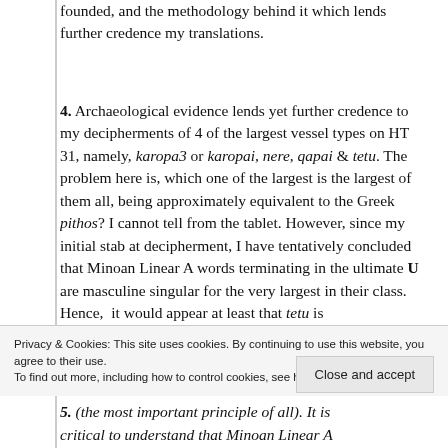founded, and the methodology behind it which lends further credence my translations.
4. Archaeological evidence lends yet further credence to my decipherments of 4 of the largest vessel types on HT 31, namely, karopa3 or karopai, nere, qapai & tetu. The problem here is, which one of the largest is the largest of them all, being approximately equivalent to the Greek pithos? I cannot tell from the tablet. However, since my initial stab at decipherment, I have tentatively concluded that Minoan Linear A words terminating in the ultimate U are masculine singular for the very largest in their class. Hence, it would appear at least that tetu is
Privacy & Cookies: This site uses cookies. By continuing to use this website, you agree to their use. To find out more, including how to control cookies, see here: Cookie Policy
Close and accept
5. (the most important principle of all). It is critical to understand that Minoan Linear A